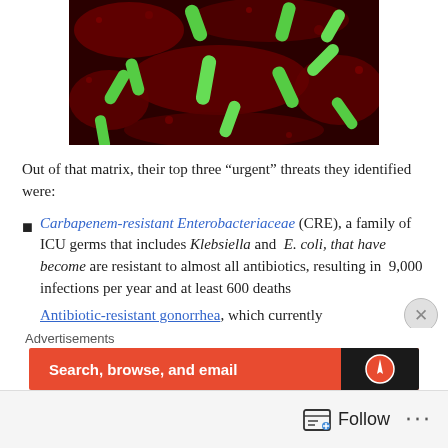[Figure (photo): Scanning electron microscope image of green rod-shaped bacteria (likely E. coli or Klebsiella) on a dark red textured background, representing antibiotic-resistant bacteria.]
Out of that matrix, their top three “urgent” threats they identified were:
Carbapenem-resistant Enterobacteriaceae (CRE), a family of ICU germs that includes Klebsiella and E. coli, that have become are resistant to almost all antibiotics, resulting in 9,000 infections per year and at least 600 deaths
Antibiotic-resistant gonorrhea, which currently...
[Figure (advertisement): Orange advertisement banner reading 'Search, browse, and email' with a dark logo on the right side.]